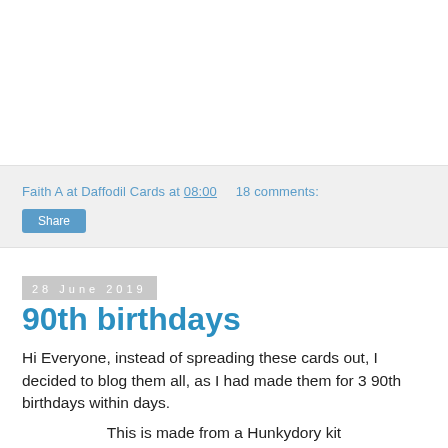Faith A at Daffodil Cards at 08:00   18 comments:
Share
28 June 2019
90th birthdays
Hi Everyone, instead of spreading these cards out, I decided to blog them all, as I had made them for 3 90th birthdays within days.
This is made from a Hunkydory kit
the centres are 3D layered
90 was made with magazine freebie dies
ribbon - stash
[Figure (photo): Photo of a handmade birthday card with floral design, blue ribbon, and decorative border]